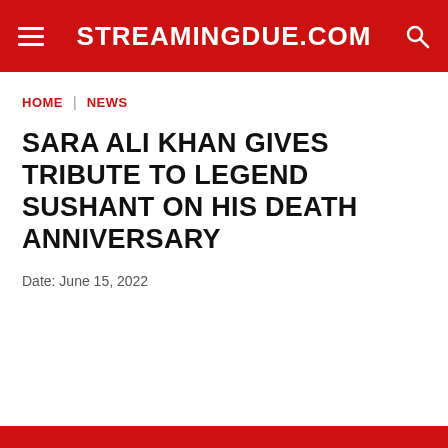STREAMINGDUE.COM
HOME | NEWS
SARA ALI KHAN GIVES TRIBUTE TO LEGEND SUSHANT ON HIS DEATH ANNIVERSARY
Date: June 15, 2022